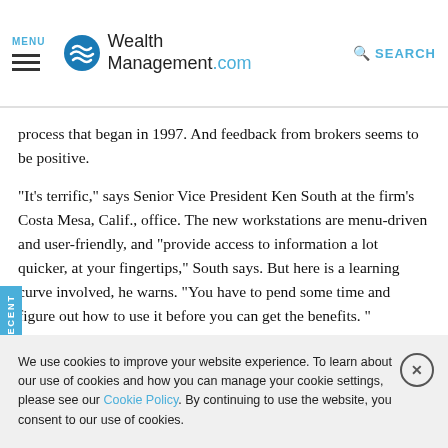MENU | WealthManagement.com | SEARCH
process that began in 1997. And feedback from brokers seems to be positive.
"It's terrific," says Senior Vice President Ken South at the firm's Costa Mesa, Calif., office. The new workstations are menu-driven and user-friendly, and "provide access to information a lot quicker, at your fingertips," South says. But here is a learning curve involved, he warns. "You have to pend some time and figure out how to use it before you can get the benefits. "
We use cookies to improve your website experience. To learn about our use of cookies and how you can manage your cookie settings, please see our Cookie Policy. By continuing to use the website, you consent to our use of cookies.